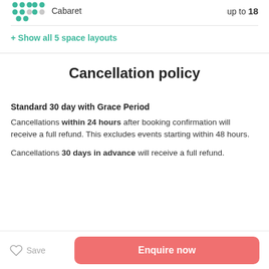[Figure (illustration): Cabaret seating layout icon with teal dots pattern, followed by label 'Cabaret' and capacity 'up to 18']
+ Show all 5 space layouts
Cancellation policy
Standard 30 day with Grace Period
Cancellations within 24 hours after booking confirmation will receive a full refund. This excludes events starting within 48 hours.
Cancellations 30 days in advance will receive a full refund.